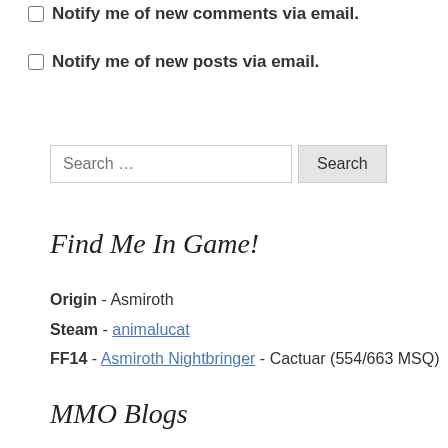Notify me of new comments via email.
Notify me of new posts via email.
Search …
Find Me In Game!
Origin - Asmiroth
Steam - animalucat
FF14 - Asmiroth Nightbringer - Cactuar (554/663 MSQ)
MMO Blogs